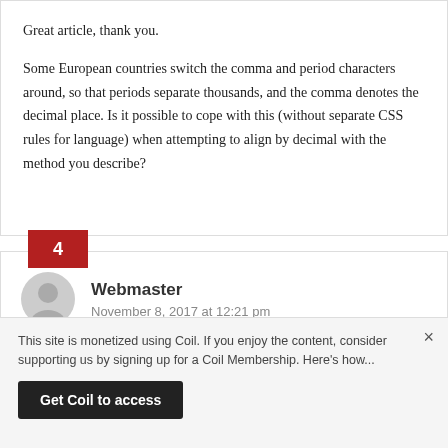Great article, thank you.
Some European countries switch the comma and period characters around, so that periods separate thousands, and the comma denotes the decimal place. Is it possible to cope with this (without separate CSS rules for language) when attempting to align by decimal with the method you describe?
4
Webmaster
November 8, 2017 at 12:21 pm
This site is monetized using Coil. If you enjoy the content, consider supporting us by signing up for a Coil Membership. Here's how...
Get Coil to access